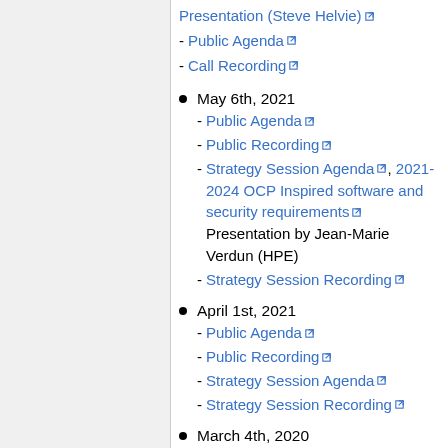Presentation (Steve Helvie) [external link]
- Public Agenda [external link]
- Call Recording [external link]
May 6th, 2021
- Public Agenda [external link]
- Public Recording [external link]
- Strategy Session Agenda [external link], 2021-2024 OCP Inspired software and security requirements [external link] Presentation by Jean-Marie Verdun (HPE)
- Strategy Session Recording [external link]
April 1st, 2021
- Public Agenda [external link]
- Public Recording [external link]
- Strategy Session Agenda [external link]
- Strategy Session Recording [external link]
March 4th, 2020
- Public Agenda [external link]